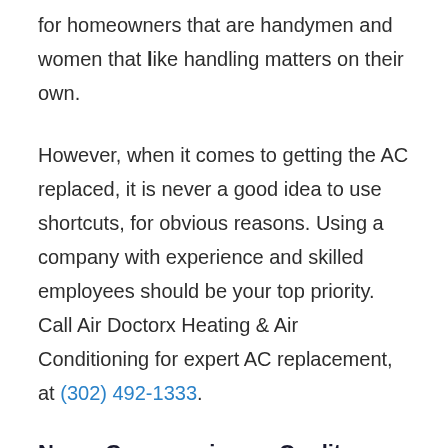for homeowners that are handymen and women that like handling matters on their own.
However, when it comes to getting the AC replaced, it is never a good idea to use shortcuts, for obvious reasons. Using a company with experience and skilled employees should be your top priority. Call Air Doctorx Heating & Air Conditioning for expert AC replacement, at (302) 492-1333.
Never Compromise on Quality